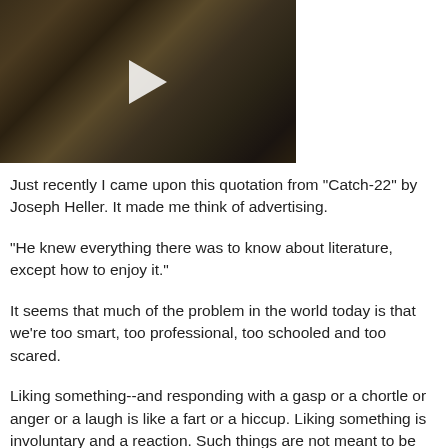[Figure (screenshot): Video thumbnail showing a dark interior scene with a play button overlay. The scene appears to show a room or stage with various objects and decorations visible in the background.]
Just recently I came upon this quotation from "Catch-22" by Joseph Heller. It made me think of advertising.
"He knew everything there was to know about literature, except how to enjoy it."
It seems that much of the problem in the world today is that we're too smart, too professional, too schooled and too scared.
Liking something--and responding with a gasp or a chortle or anger or a laugh is like a fart or a hiccup. Liking something is involuntary and a reaction. Such things are not meant to be